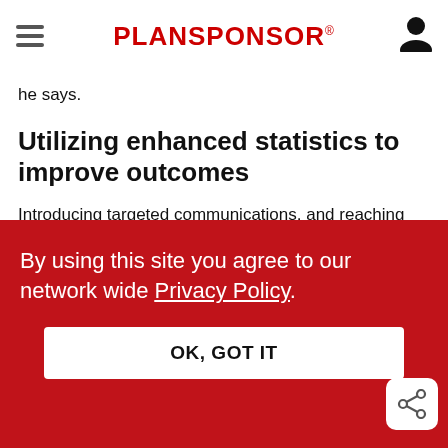PLANSPONSOR
he says.
Utilizing enhanced statistics to improve outcomes
Introducing targeted communications, and reaching out to participants with personal one-on-one consultations, can often be of the best
By using this site you agree to our network wide Privacy Policy.
OK, GOT IT